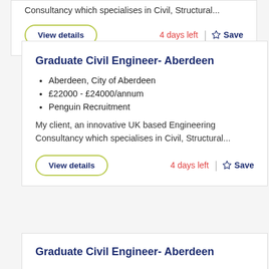Consultancy which specialises in Civil, Structural...
View details  4 days left  Save
Graduate Civil Engineer- Aberdeen
Aberdeen, City of Aberdeen
£22000 - £24000/annum
Penguin Recruitment
My client, an innovative UK based Engineering Consultancy which specialises in Civil, Structural...
View details  4 days left  Save
Graduate Civil Engineer- Aberdeen